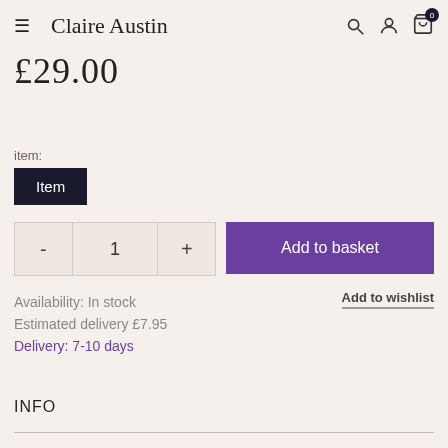Claire Austin
£29.00
item:
Item
- 1 +
Add to basket
Availability: In stock
Add to wishlist
Estimated delivery £7.95
Delivery: 7-10 days
INFO